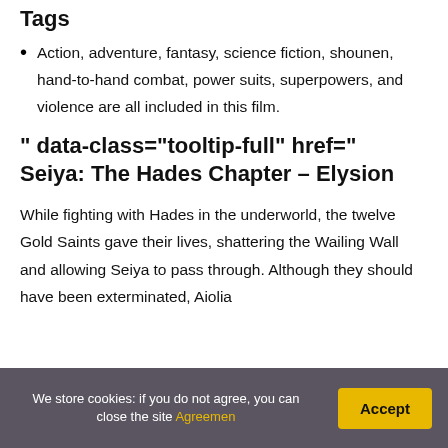Tags
Action, adventure, fantasy, science fiction, shounen, hand-to-hand combat, power suits, superpowers, and violence are all included in this film.
" data-class="tooltip-full" href=" Seiya: The Hades Chapter – Elysion
While fighting with Hades in the underworld, the twelve Gold Saints gave their lives, shattering the Wailing Wall and allowing Seiya to pass through. Although they should have been exterminated, Aiolia
We store cookies: if you do not agree, you can close the site Agreemen
Accept